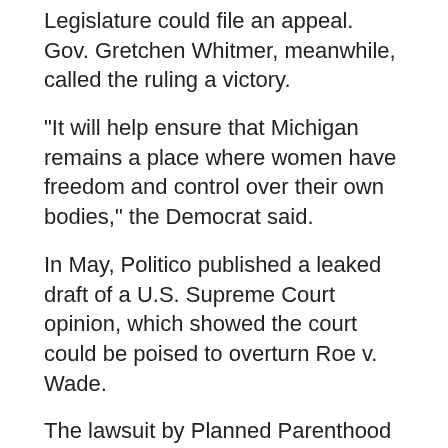Legislature could file an appeal. Gov. Gretchen Whitmer, meanwhile, called the ruling a victory.
"It will help ensure that Michigan remains a place where women have freedom and control over their own bodies," the Democrat said.
In May, Politico published a leaked draft of a U.S. Supreme Court opinion, which showed the court could be poised to overturn Roe v. Wade.
The lawsuit by Planned Parenthood is one of two legal challenges in Michigan. Whitmer, who supports abortion rights, has asked the Michigan Supreme Court to bypass lower courts and declare the 91-year-old law unconstitutional. That effort is pending.